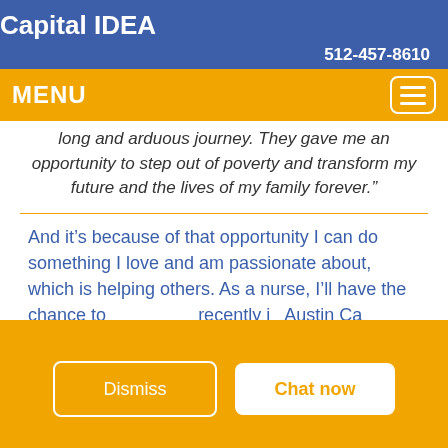Capital IDEA
512-457-8610
MENU
long and arduous journey. They gave me an opportunity to step out of poverty and transform my future and the lives of my family forever.”
And it’s because of that opportunity I can do something I love and am passionate about, which is helping others. As a nurse, I’ll have the chance to... recently i... Austin Ca... with othe...
Dismiss
Chat now